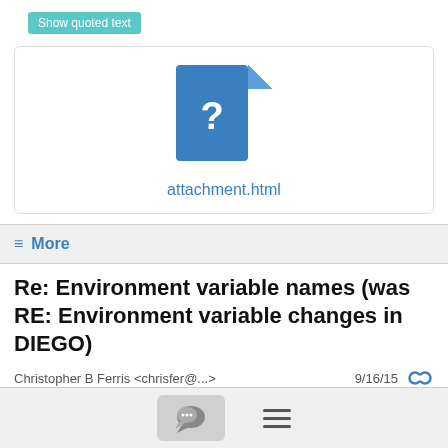Show quoted text
[Figure (illustration): File attachment icon with question mark, labeled attachment.html]
attachment.html
≡ More
Re: Environment variable names (was RE: Environment variable changes in DIEGO)
Christopher B Ferris <chrisfer@...>
9/16/15
Onsi,
I can tell you that we (IBM) would welcome a secure metadata...